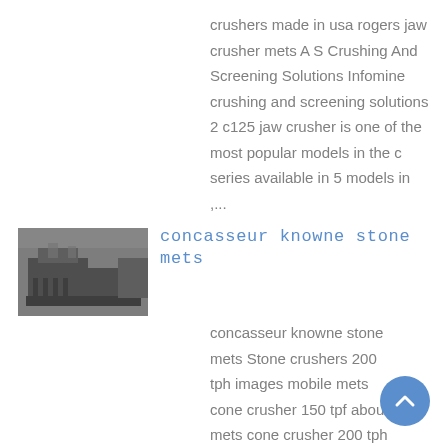crushers made in usa rogers jaw crusher mets A S Crushing And Screening Solutions Infomine crushing and screening solutions 2 c125 jaw crusher is one of the most popular models in the c series available in 5 models in ,...
[Figure (photo): Thumbnail image of a stone crusher machine in a quarry or industrial setting, grayscale/dark tones]
concasseur knowne stone mets
concasseur knowne stone mets Stone crushers 200 tph images mobile mets cone crusher 150 tpf about mets cone crusher 200 tph and about mets vectors or photos for crusher you can buy Get Price about mets cone crusher 200 tph Get Prices Metsstonecrusher Mets cone crusher 150 .We are a professional